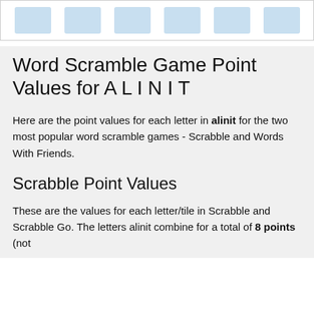[Figure (other): Top bar with 6 blue rectangular tile placeholders on a white background with border]
Word Scramble Game Point Values for A L I N I T
Here are the point values for each letter in alinit for the two most popular word scramble games - Scrabble and Words With Friends.
Scrabble Point Values
These are the values for each letter/tile in Scrabble and Scrabble Go. The letters alinit combine for a total of 8 points (not